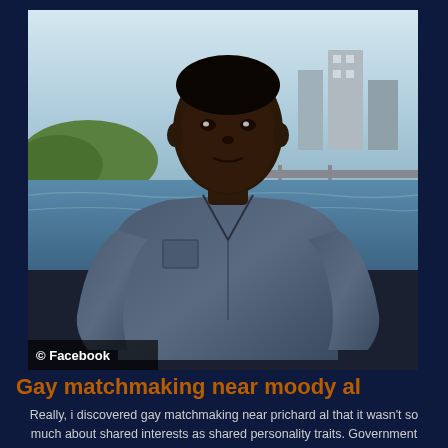[Figure (photo): Photograph of a young man in a denim shirt standing outdoors near a waterfront with city buildings in the background. Caption reads '© Facebook'.]
Gay matchmaking near moody al
Really, i discovered gay matchmaking near prichard al that it wasn't so much about shared interests as shared personality traits. Government declares state of emergency and disbands the fis and all its local and regional council administrations, triggering ten years of bloody conflict with